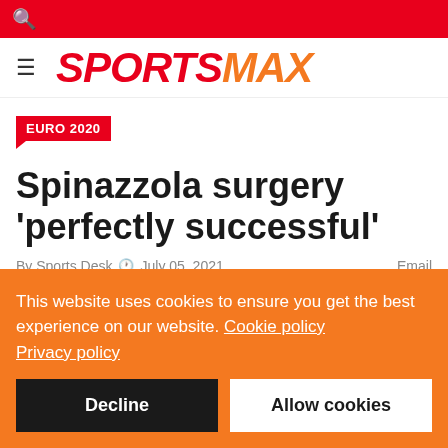SPORTSMAX
EURO 2020
Spinazzola surgery 'perfectly successful'
By Sports Desk  ⏱ July 05, 2021  Email
This website uses cookies to ensure you get the best experience on our website. Cookie policy Privacy policy
Decline  Allow cookies